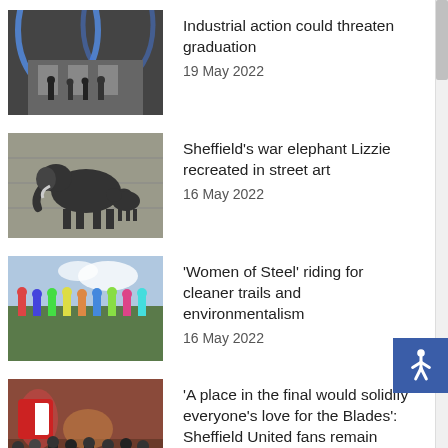[Figure (photo): Photo of people near a building with blue lighting overhead]
Industrial action could threaten graduation
19 May 2022
[Figure (photo): Street art mural of an elephant on a concrete wall]
Sheffield’s war elephant Lizzie recreated in street art
16 May 2022
[Figure (photo): Group of cyclists standing outdoors]
‘Women of Steel’ riding for cleaner trails and environmentalism
16 May 2022
[Figure (photo): Sheffield United fans at a football match]
‘A place in the final would solidify everyone’s love for the Blades’: Sheffield United fans remain hopeful despite defeat
16 May 2022